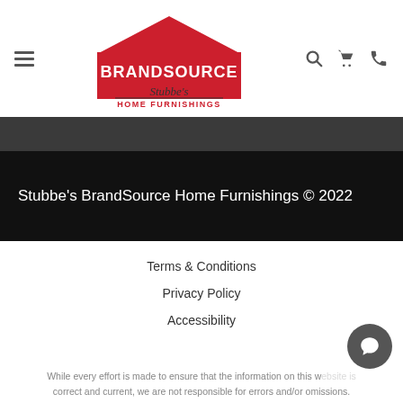BrandSource Stubbe's Home Furnishings — navigation header with logo
[Figure (logo): BrandSource Stubbe's Home Furnishings logo with red house/roof shape]
Stubbe's BrandSource Home Furnishings © 2022
Terms & Conditions
Privacy Policy
Accessibility
While every effort is made to ensure that the information on this website is correct and current, we are not responsible for errors and/or omissions.